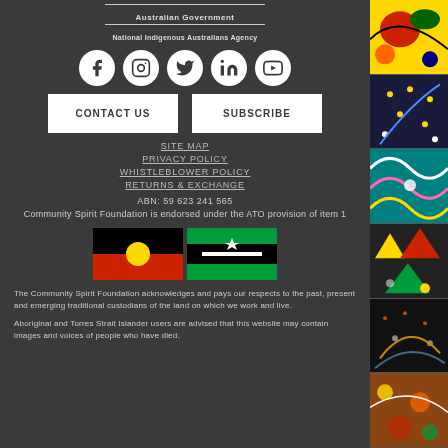Australian Government
National Indigenous Australians Agency
[Figure (infographic): Social media icons: Facebook, Instagram, Twitter, LinkedIn, YouTube]
CONTACT US | SUBSCRIBE
SITE MAP
PRIVACY POLICY
WHISTLEBLOWER POLICY
RETURNS & EXCHANGE
ABN: 59 623 241 565
Community Spirit Foundation is endorsed under the ATO provision of item 1
[Figure (illustration): Aboriginal and Torres Strait Islander flags side by side]
The Community Spirit Foundation acknowledges and pays our respects to the past, present and emerging traditional custodians of the land on which we work and live.
Aboriginal and Torres Strait Islander users are advised that this website may contain images and voices of people who have died.
[Figure (illustration): Colourful Aboriginal art strip on right side of page]